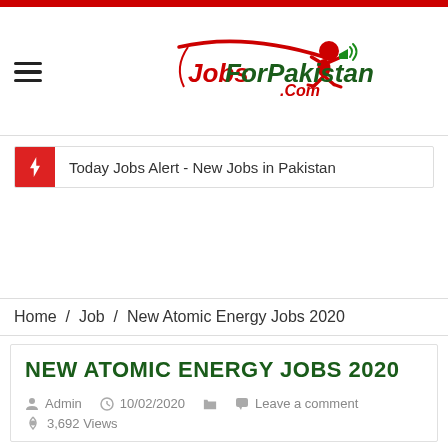[Figure (logo): JobsForPakistan.Com logo with running figure carrying a megaphone]
Today Jobs Alert - New Jobs in Pakistan
Home / Job / New Atomic Energy Jobs 2020
NEW ATOMIC ENERGY JOBS 2020
Admin  10/02/2020   Leave a comment  3,692 Views